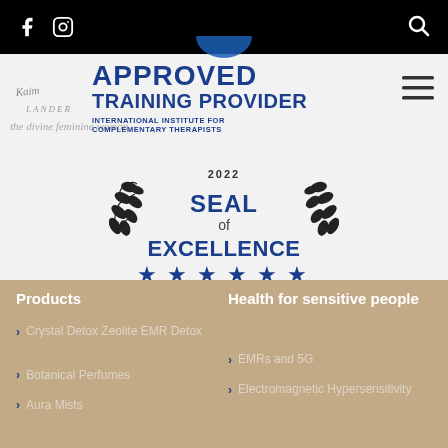Navigation bar with Facebook, Instagram icons and search icon
[Figure (logo): Approved Training Provider badge for International Institute for Complementary Therapists, with script logo for The Divine Feminine Woman]
[Figure (logo): 2022 Seal of Excellence with five blue stars and laurel wreath]
Products
Crystal Detox Zeolite EMR Detox
Botanical Perfumes
Aura Mists
Health for sensitive people
EMRs and 5G
Electromagnetic Hypersensitivity